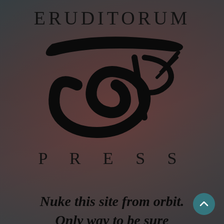ERUDITORUM
[Figure (logo): Eruditorum Press stylized EP logo — a large cursive E combined with a P, with a sweeping horizontal bar across the top, rendered in black on a dark reddish-brown background.]
PRESS
Nuke this site from orbit. Only way to be sure